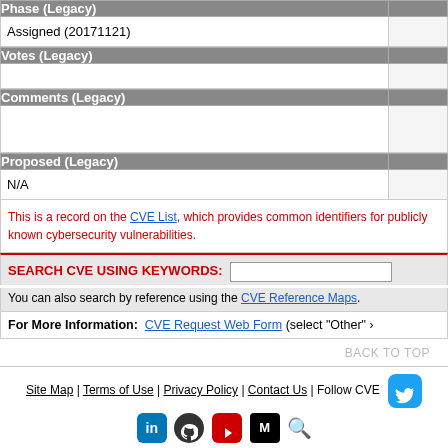| Phase (Legacy) |  |
| --- | --- |
| Assigned (20171121) |  |
| Votes (Legacy) |  |
| --- | --- |
|  |  |
| Comments (Legacy) |  |
| --- | --- |
|  |  |
| Proposed (Legacy) |  |
| --- | --- |
| N/A |  |
This is a record on the CVE List, which provides common identifiers for publicly known cybersecurity vulnerabilities.
SEARCH CVE USING KEYWORDS:
You can also search by reference using the CVE Reference Maps.
For More Information: CVE Request Web Form (select "Other"
BACK TO TOP
Site Map | Terms of Use | Privacy Policy | Contact Us | Follow CVE
Use of the CVE® List and the associated references from this website are subject to the terms of use. CVE is sponsored by the U.S. Department of Homeland